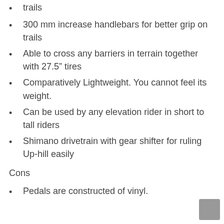trails
300 mm increase handlebars for better grip on trails
Able to cross any barriers in terrain together with 27.5″ tires
Comparatively Lightweight. You cannot feel its weight.
Can be used by any elevation rider in short to tall riders
Shimano drivetrain with gear shifter for ruling Up-hill easily
Cons
Pedals are constructed of vinyl.